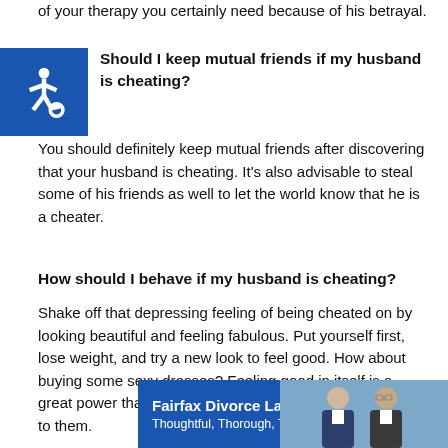of your therapy you certainly need because of his betrayal.
[Figure (logo): Blue square accessibility icon with wheelchair symbol in white]
Should I keep mutual friends if my husband is cheating?
You should definitely keep mutual friends after discovering that your husband is cheating. It's also advisable to steal some of his friends as well to let the world know that he is a cheater.
How should I behave if my husband is cheating?
Shake off that depressing feeling of being cheated on by looking beautiful and feeling fabulous. Put yourself first, lose weight, and try a new look to feel good. How about buying some sexy dresses? Feeling good in itself is a great power that will draw the right people to you and you to them.
[Figure (photo): Advertisement banner: Fairfax Divorce Lawyers. Thoughtful, Thorough, Trusted. Blue background with photo of two men in suits.]